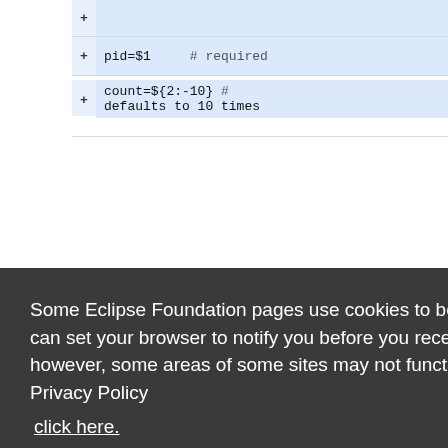+ pid=$1    # required
+ count=${2:-10}  # defaults to 10 times
Some Eclipse Foundation pages use cookies to better serve you when you return to the site. You can set your browser to notify you before you receive a cookie or turn off cookies. If you do so, however, some areas of some sites may not function properly. To read Eclipse Foundation Privacy Policy click here.